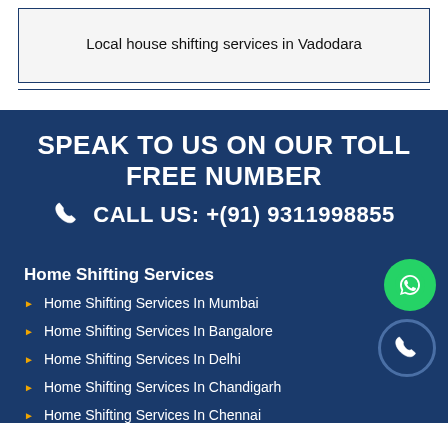Local house shifting services in Vadodara
SPEAK TO US ON OUR TOLL FREE NUMBER
CALL US: +(91) 9311998855
Home Shifting Services
Home Shifting Services In Mumbai
Home Shifting Services In Bangalore
Home Shifting Services In Delhi
Home Shifting Services In Chandigarh
Home Shifting Services In Chennai